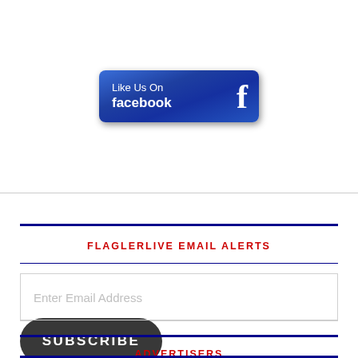[Figure (logo): Like Us On Facebook button - blue gradient rectangular badge with Facebook 'f' icon]
FLAGLERLIVE EMAIL ALERTS
Enter Email Address
SUBSCRIBE
ADVERTISERS